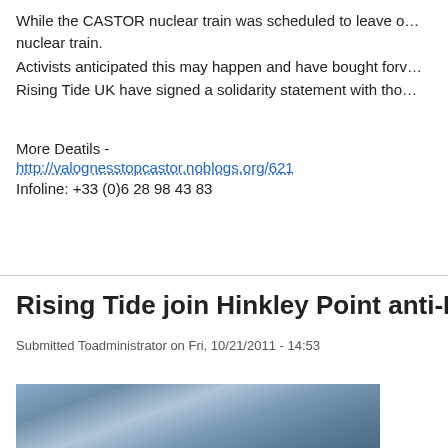While the CASTOR nuclear train was scheduled to leave o… nuclear train.
Activists anticipated this may happen and have bought forv…
Rising Tide UK have signed a solidarity statement with tho…
More Deatils -
http://valognesstopcastor.noblogs.org/621
Infoline: +33 (0)6 28 98 43 83
Rising Tide join Hinkley Point anti-Nucle…
Submitted Toadministrator on Fri, 10/21/2011 - 14:53
[Figure (photo): Outdoor photo showing a cloudy sky or landscape, partially visible at bottom of page]